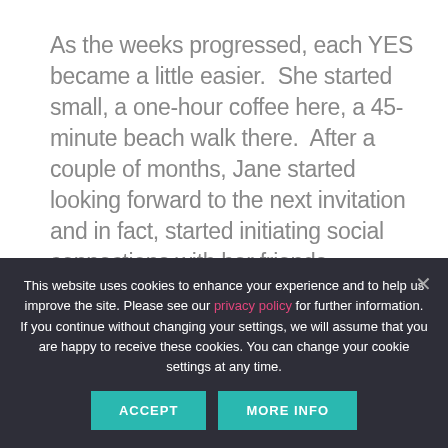As the weeks progressed, each YES became a little easier.  She started small, a one-hour coffee here, a 45-minute beach walk there.  After a couple of months, Jane started looking forward to the next invitation and in fact, started initiating social connections with her friends.
She was starting to awaken her own playful
This website uses cookies to enhance your experience and to help us improve the site. Please see our privacy policy for further information. If you continue without changing your settings, we will assume that you are happy to receive these cookies. You can change your cookie settings at any time.